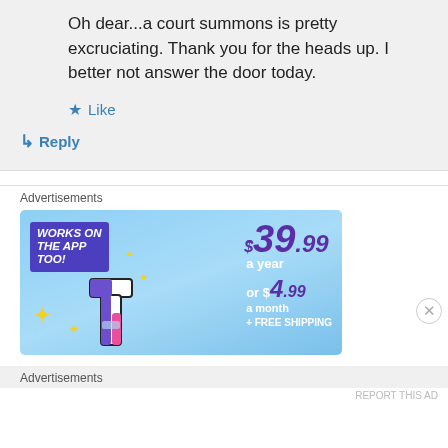Oh dear...a court summons is pretty excruciating. Thank you for the heads up. I better not answer the door today.
★ Like
↵ Reply
Advertisements
[Figure (other): Advertisement banner: 'WORKS ON THE APP TOO!' with pricing $39.99 a year or $4.99 a month + FREE SHIPPING, on a blue background with a stylized letter T logo and sparkle decorations.]
Advertisements